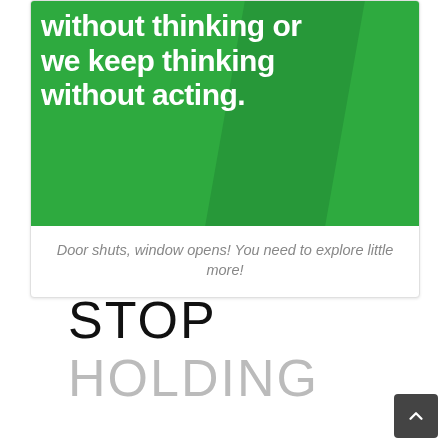[Figure (photo): Green background image with large white bold text reading '...without thinking or we keep thinking without acting.']
Door shuts, window opens! You need to explore little more!
STOP HOLDING